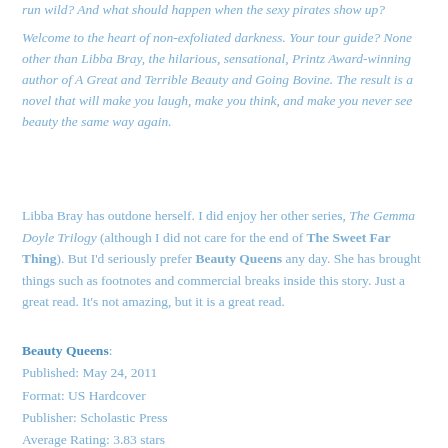run wild? And what should happen when the sexy pirates show up?
Welcome to the heart of non-exfoliated darkness. Your tour guide? None other than Libba Bray, the hilarious, sensational, Printz Award-winning author of A Great and Terrible Beauty and Going Bovine. The result is a novel that will make you laugh, make you think, and make you never see beauty the same way again.
Libba Bray has outdone herself. I did enjoy her other series, The Gemma Doyle Trilogy (although I did not care for the end of The Sweet Far Thing). But I'd seriously prefer Beauty Queens any day. She has brought things such as footnotes and commercial breaks inside this story. Just a great read. It's not amazing, but it is a great read.
Beauty Queens:
Published: May 24, 2011
Format: US Hardcover
Publisher: Scholastic Press
Average Rating: 3.83 stars
Page Count: 390 pages